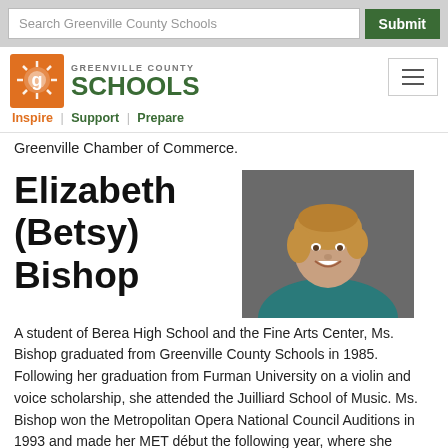Search Greenville County Schools | Submit
[Figure (logo): Greenville County Schools logo with sun icon, tagline: Inspire | Support | Prepare]
Greenville Chamber of Commerce.
Elizabeth (Betsy) Bishop
[Figure (photo): Professional headshot of Elizabeth (Betsy) Bishop, smiling woman with short blonde/auburn hair, wearing a teal blazer, against a dark gray background.]
A student of Berea High School and the Fine Arts Center, Ms. Bishop graduated from Greenville County Schools in 1985. Following her graduation from Furman University on a violin and voice scholarship, she attended the Juilliard School of Music. Ms. Bishop won the Metropolitan Opera National Council Auditions in 1993 and made her MET début the following year, where she continues to be a company regular. Ms. Bishop also maintains a close association with her home company, Washington National Opera, and is a frequent guest of